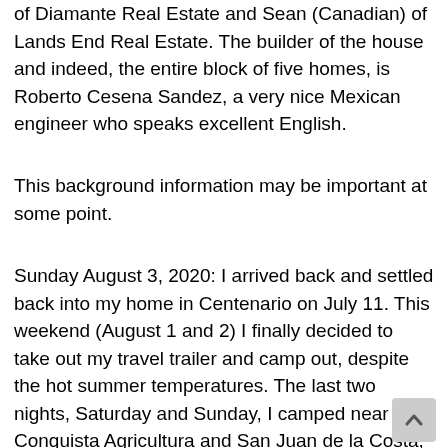of Diamante Real Estate and Sean (Canadian) of Lands End Real Estate. The builder of the house and indeed, the entire block of five homes, is Roberto Cesena Sandez, a very nice Mexican engineer who speaks excellent English.
This background information may be important at some point.
Sunday August 3, 2020: I arrived back and settled back into my home in Centenario on July 11. This weekend (August 1 and 2) I finally decided to take out my travel trailer and camp out, despite the hot summer temperatures. The last two nights, Saturday and Sunday, I camped near Conquista Agricultura and San Juan de la Costa, respectively, with my travel trailer. There were setups by Mexican stalkers in both locations. Here I will